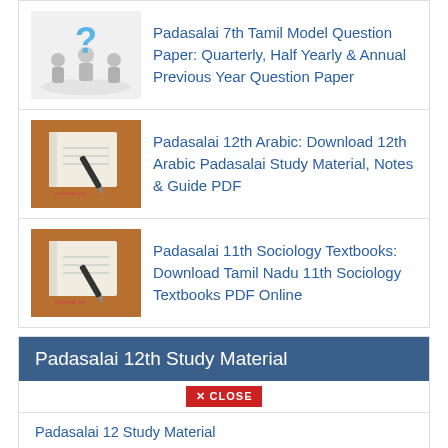Padasalai 7th Tamil Model Question Paper: Quarterly, Half Yearly & Annual Previous Year Question Paper
Padasalai 12th Arabic: Download 12th Arabic Padasalai Study Material, Notes & Guide PDF
Padasalai 11th Sociology Textbooks: Download Tamil Nadu 11th Sociology Textbooks PDF Online
Padasalai 12th Study Material
Padasalai 12 Study Material
Padasalai 12th Physics Study Material
Padasalai 12th Maths Study Material
Padasalai 12th History Study Material